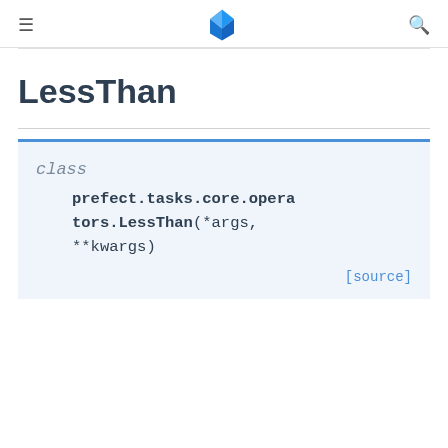≡  [Prefect logo]  🔍
LessThan
class prefect.tasks.core.operators.LessThan(*args, **kwargs) [source]